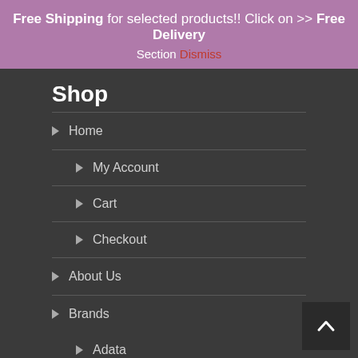Free Shipping for selected products!! Click on >> Free Delivery Section Dismiss
Shop
Home
My Account
Cart
Checkout
About Us
Brands
Adata
ASRock Inc.